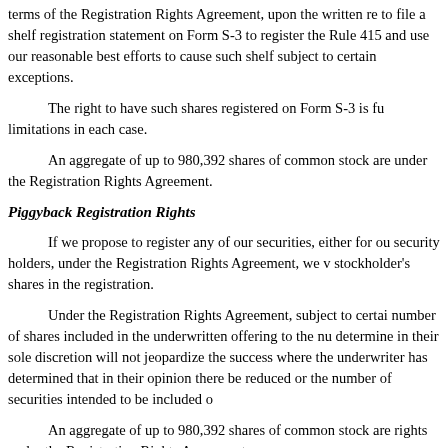terms of the Registration Rights Agreement, upon the written re to file a shelf registration statement on Form S-3 to register the Rule 415 and use our reasonable best efforts to cause such shelf subject to certain exceptions.
The right to have such shares registered on Form S-3 is fu limitations in each case.
An aggregate of up to 980,392 shares of common stock are under the Registration Rights Agreement.
Piggyback Registration Rights
If we propose to register any of our securities, either for ou security holders, under the Registration Rights Agreement, we v stockholder's shares in the registration.
Under the Registration Rights Agreement, subject to certai number of shares included in the underwritten offering to the nu determine in their sole discretion will not jeopardize the success where the underwriter has determined that in their opinion there be reduced or the number of securities intended to be included o
An aggregate of up to 980,392 shares of common stock are rights under the Registration Rights Agreement.
Indemnification
The Registration Rights Agreement contains customary cro we are obligated to indemnify the stockholder in the event of m